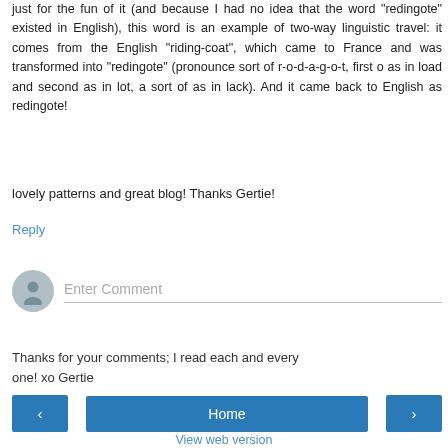just for the fun of it (and because I had no idea that the word "redingote" existed in English), this word is an example of two-way linguistic travel: it comes from the English "riding-coat", which came to France and was transformed into "redingote" (pronounce sort of r-o-d-a-g-o-t, first o as in load and second as in lot, a sort of as in lack). And it came back to English as redingote!
lovely patterns and great blog! Thanks Gertie!
Reply
[Figure (other): User avatar icon (grey silhouette) with Enter Comment placeholder input field]
Thanks for your comments; I read each and every one! xo Gertie
< Home > View web version